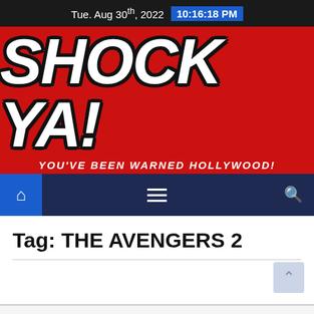Tue. Aug 30th, 2022  10:16:18 PM
[Figure (logo): Shock Ya! website logo on red background with white bold italic text 'SHOCK YA!' and subtitle 'YOU'VE BEEN WARNED HOLLYWOOD!']
[Figure (infographic): Navigation bar with home icon (blue background), hamburger menu icon, and search icon on dark navy background]
Tag: THE AVENGERS 2